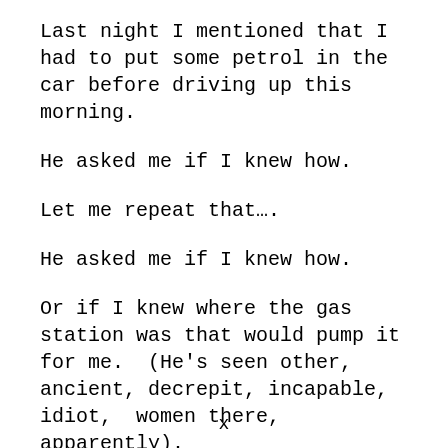Last night I mentioned that I had to put some petrol in the car before driving up this morning.
He asked me if I knew how.
Let me repeat that….
He asked me if I knew how.
Or if I knew where the gas station was that would pump it for me.  (He's seen other, ancient, decrepit, incapable, idiot,  women there, apparently).
x